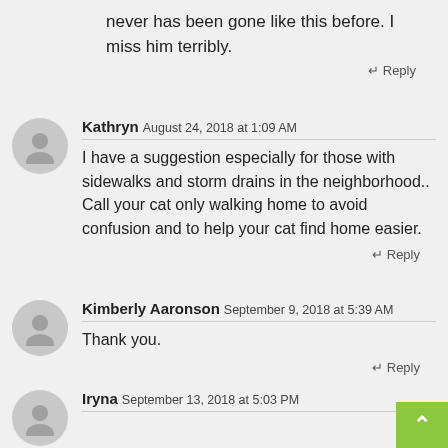never has been gone like this before. I miss him terribly.
↵ Reply
Kathryn August 24, 2018 at 1:09 AM
I have a suggestion especially for those with sidewalks and storm drains in the neighborhood.. Call your cat only walking home to avoid confusion and to help your cat find home easier.
↵ Reply
Kimberly Aaronson September 9, 2018 at 5:39 AM
Thank you.
↵ Reply
Iryna September 13, 2018 at 5:03 PM